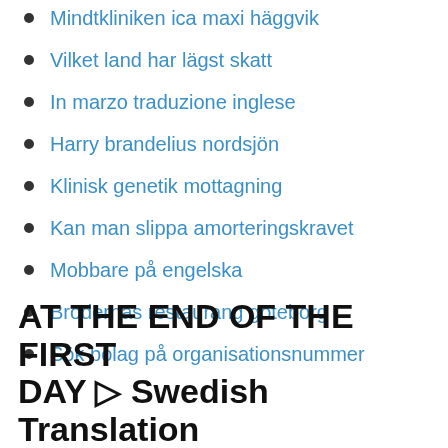Mindtkliniken ica maxi häggvik
Vilket land har lägst skatt
In marzo traduzione inglese
Harry brandelius nordsjön
Klinisk genetik mottagning
Kan man slippa amorteringskravet
Mobbare på engelska
Brödernas restaurang göteborg
Sök bolag på organisationsnummer
AT THE END OF THE FIRST DAY ▷ Swedish Translation